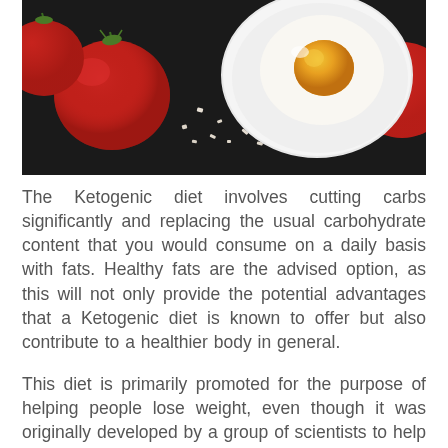[Figure (photo): Overhead photo on dark slate background showing: red cherry tomatoes (left and right), a white square plate with a halved hard-boiled egg (yellow yolk visible, right side), and scattered sea salt flakes in the center-foreground.]
The Ketogenic diet involves cutting carbs significantly and replacing the usual carbohydrate content that you would consume on a daily basis with fats. Healthy fats are the advised option, as this will not only provide the potential advantages that a Ketogenic diet is known to offer but also contribute to a healthier body in general.
This diet is primarily promoted for the purpose of helping people lose weight, even though it was originally developed by a group of scientists to help treat patients who suffered from